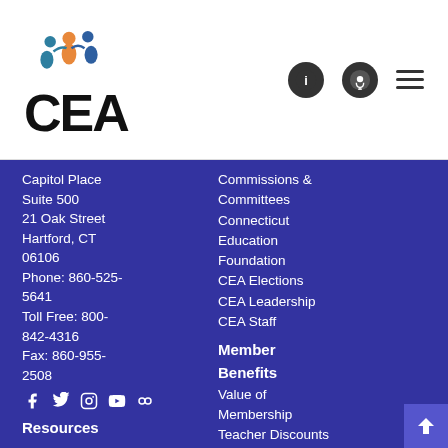[Figure (logo): CEA logo with colorful figure icon above bold CEA text]
[Figure (infographic): Header navigation icons: info circle, podcast circle, hamburger menu]
Capitol Place Suite 500 21 Oak Street Hartford, CT 06106 Phone: 860-525-5641 Toll Free: 800-842-4316 Fax: 860-955-2508
[Figure (infographic): Social media icons: Facebook, Twitter, Instagram, YouTube, Flickr]
Resources
Commissions & Committees
Connecticut
Education Foundation
CEA Elections
CEA Leadership
CEA Staff
Member Benefits
Value of Membership
Teacher Discounts
News and